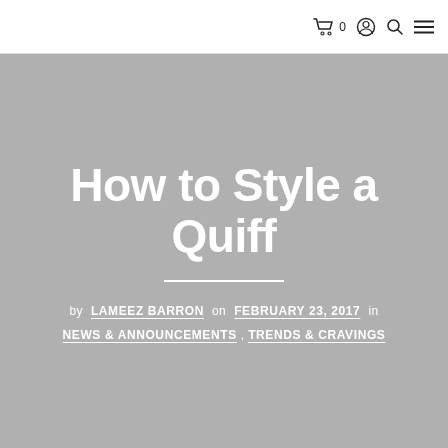0
How to Style a Quiff
by LAMEEZ BARRON on FEBRUARY 23, 2017 in
NEWS & ANNOUNCEMENTS, TRENDS & CRAVINGS